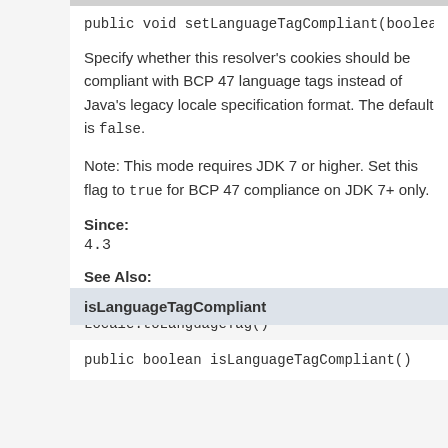public void setLanguageTagCompliant(boolean langu
Specify whether this resolver's cookies should be compliant with BCP 47 language tags instead of Java's legacy locale specification format. The default is false.
Note: This mode requires JDK 7 or higher. Set this flag to true for BCP 47 compliance on JDK 7+ only.
Since:
4.3
See Also:
Locale.forLanguageTag(String),
Locale.toLanguageTag()
isLanguageTagCompliant
public boolean isLanguageTagCompliant()